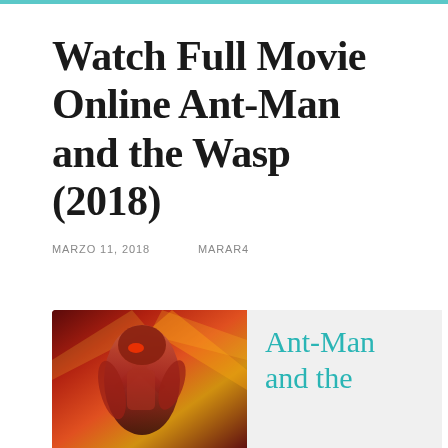Watch Full Movie Online Ant-Man and the Wasp (2018)
MARZO 11, 2018    MARAR4
[Figure (photo): Movie poster or promotional image for Ant-Man and the Wasp (2018) showing a superhero character in a red and gold suit with dramatic lighting and action pose, set within a light gray card layout]
Ant-Man and the